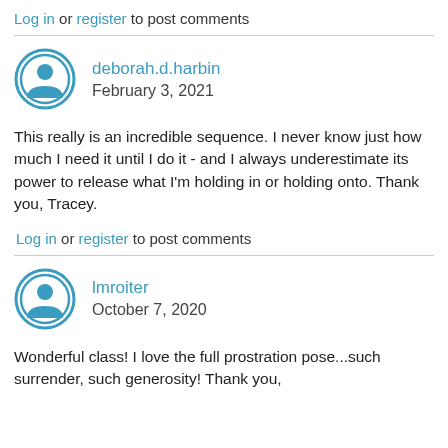Log in or register to post comments
deborah.d.harbin
February 3, 2021
This really is an incredible sequence. I never know just how much I need it until I do it - and I always underestimate its power to release what I'm holding in or holding onto. Thank you, Tracey.
Log in or register to post comments
lmroiter
October 7, 2020
Wonderful class! I love the full prostration pose...such surrender, such generosity! Thank you,